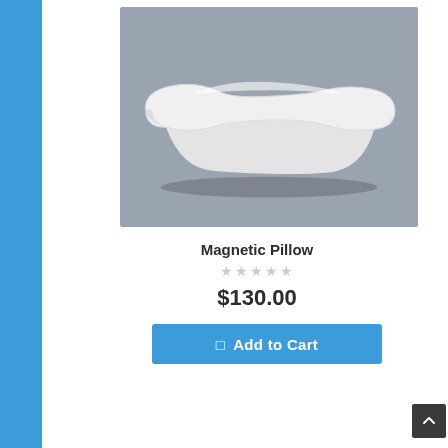[Figure (photo): White ergonomic magnetic pillow photographed on a gray background with soft shadow beneath]
Magnetic Pillow
★★★★★
$130.00
Add to Cart